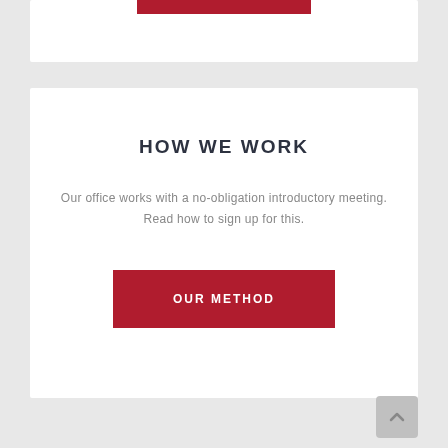HOW WE WORK
Our office works with a no-obligation introductory meeting. Read how to sign up for this.
[Figure (other): Red button labeled OUR METHOD]
[Figure (other): Grey scroll-to-top arrow button in bottom right corner]